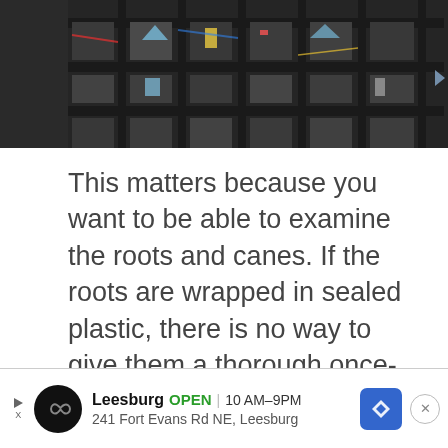[Figure (photo): A photo of shelves or crates stacked with various items and colored materials, viewed from a close angle, dark toned.]
This matters because you want to be able to examine the roots and canes. If the roots are wrapped in sealed plastic, there is no way to give them a thorough once-over. Some places will let you open the package to give them a look.
[Figure (infographic): Advertisement banner: Leesburg OPEN 10AM–9PM, 241 Fort Evans Rd NE, Leesburg. Shows logo circle with infinity symbol, navigation arrow box, and close button.]